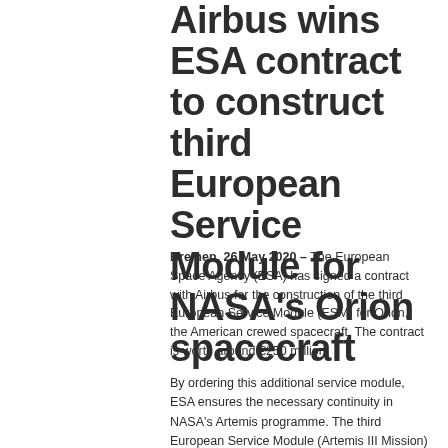Airbus wins ESA contract to construct third European Service Module for NASA's Orion spacecraft
Bremen, 26 May 2020 – The European Space Agency (ESA) has signed a contract with Airbus for the construction of the third European Service Module (ESM) for Orion, the American crewed spacecraft. The contract is worth around €250 million.
By ordering this additional service module, ESA ensures the necessary continuity in NASA's Artemis programme. The third European Service Module (Artemis III Mission)